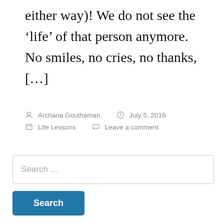either way)! We do not see the ‘life’ of that person anymore. No smiles, no cries, no thanks, […]
Posted by Archana Gouthaman   July 5, 2016   Life Lessons   Leave a comment
Search …
Search